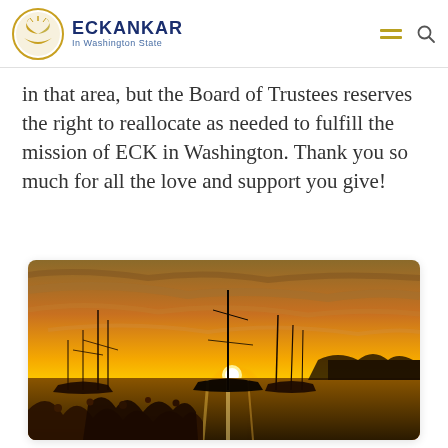ECKANKAR In Washington State
in that area, but the Board of Trustees reserves the right to reallocate as needed to fulfill the mission of ECK in Washington. Thank you so much for all the love and support you give!
[Figure (photo): A sunset over a marina with sailboats silhouetted against a vivid orange and yellow sky, with reflections on the water and wildflowers in the foreground.]